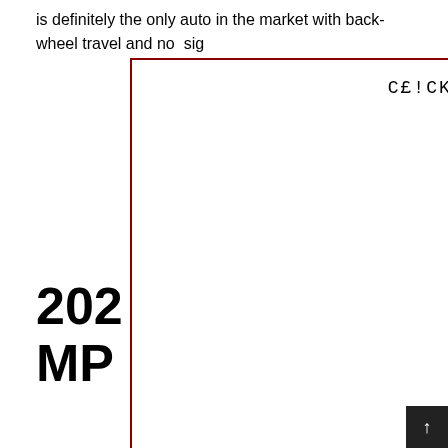is definitely the only auto in the market with back-wheel travel and no sig
[Figure (screenshot): Modal overlay with red border containing text 'CEICK IM4GE TO CE0$E' in monospace font on white background]
202 RP, MPG
[Figure (photo): Small photo of a white car (partially visible), bottom left corner]
G - rds backw e able to kee 22, it may g fic R/T Sc Wideb front door C ee track of (as a r